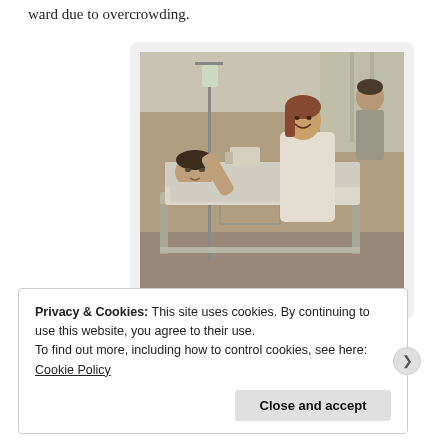ward due to overcrowding.
[Figure (photo): Hospital ward scene showing a patient lying in a bed with an IV drip stand, attended by a smiling nurse or doctor in a white coat. Another person is visible in the background near curtains.]
image source:haaretz.com
Privacy & Cookies: This site uses cookies. By continuing to use this website, you agree to their use.
To find out more, including how to control cookies, see here: Cookie Policy